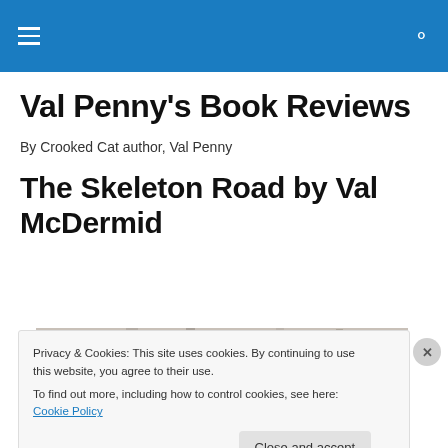Val Penny's Book Reviews — site header bar with hamburger menu and search icon
Val Penny's Book Reviews
By Crooked Cat author, Val Penny
The Skeleton Road by Val McDermid
[Figure (photo): Partial view of a book cover image, cropped, showing top portion of a book]
Privacy & Cookies: This site uses cookies. By continuing to use this website, you agree to their use.
To find out more, including how to control cookies, see here: Cookie Policy
Close and accept